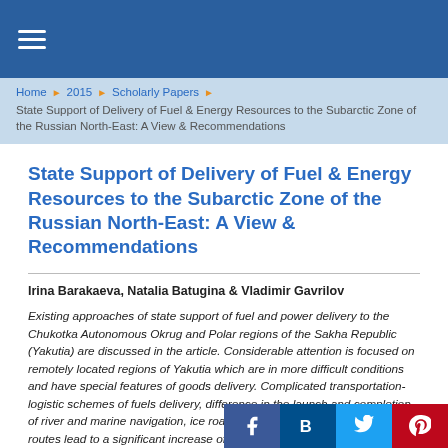☰
Home ▶ 2015 ▶ Scholarly Papers ▶
State Support of Delivery of Fuel & Energy Resources to the Subarctic Zone of the Russian North-East: A View & Recommendations
State Support of Delivery of Fuel & Energy Resources to the Subarctic Zone of the Russian North-East: A View & Recommendations
Irina Barakaeva, Natalia Batugina & Vladimir Gavrilov
Existing approaches of state support of fuel and power delivery to the Chukotka Autonomous Okrug and Polar regions of the Sakha Republic (Yakutia) are discussed in the article. Considerable attention is focused on remotely located regions of Yakutia which are in more difficult conditions and have special features of goods delivery. Complicated transportation-logistic schemes of fuels delivery, difference in the launch and completion of river and marine navigation, ice roads, thousand kilometer length of the routes lead to a significant increase of